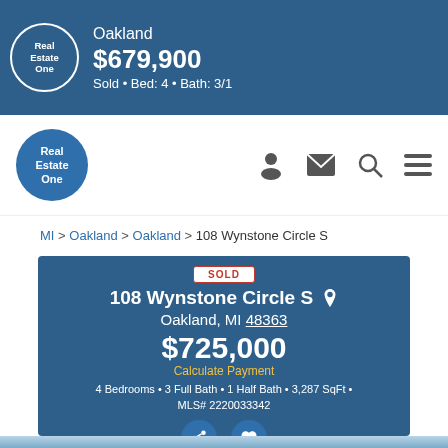Oakland $679,900 Sold • Bed: 4 • Bath: 3/1
[Figure (logo): Real Estate One circular logo in white on blue background, navigation bar]
MI > Oakland > Oakland > 108 Wynstone Circle S
SOLD
108 Wynstone Circle S
Oakland, MI 48363
$725,000
Calculate Payment
4 Bedrooms • 3 Full Bath • 1 Half Bath • 3,287 SqFt • MLS# 2220033342